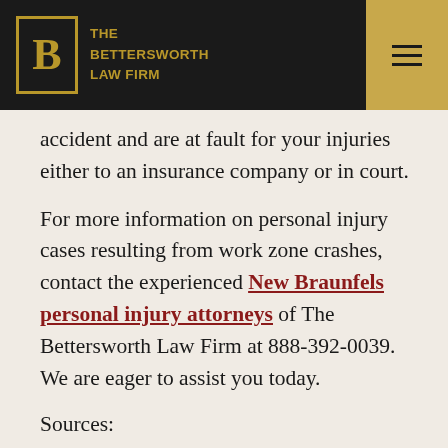THE BETTERSWORTH LAW FIRM
accident and are at fault for your injuries either to an insurance company or in court.
For more information on personal injury cases resulting from work zone crashes, contact the experienced New Braunfels personal injury attorneys of The Bettersworth Law Firm at 888-392-0039. We are eager to assist you today.
Sources:
http://www.txdot.gov/driver/share-